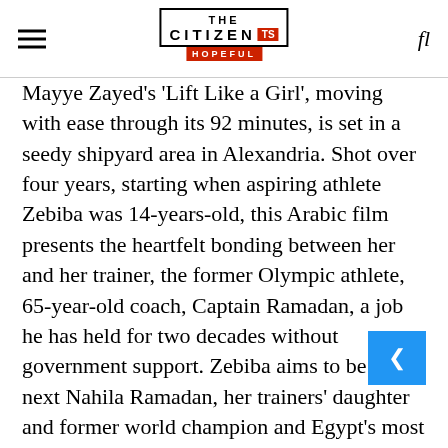THE CITIZEN TS HOPEFUL
Mayye Zayed's 'Lift Like a Girl', moving with ease through its 92 minutes, is set in a seedy shipyard area in Alexandria. Shot over four years, starting when aspiring athlete Zebiba was 14-years-old, this Arabic film presents the heartfelt bonding between her and her trainer, the former Olympic athlete, 65-year-old coach, Captain Ramadan, a job he has held for two decades without government support. Zebiba aims to be the next Nahila Ramadan, her trainers' daughter and former world champion and Egypt's most famous athlete.
Zebiba, despite the constraints of her poverty, sets her eyes on her goal, training under the eyes of her elderly